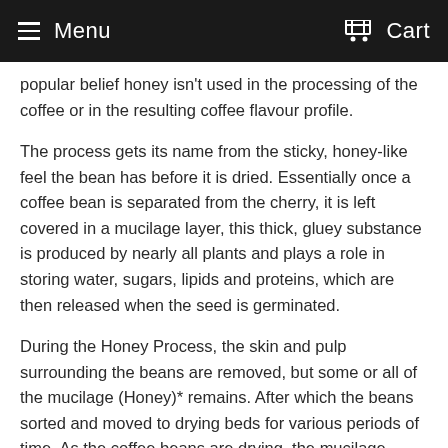Menu   Cart
popular belief honey isn't used in the processing of the coffee or in the resulting coffee flavour profile.
The process gets its name from the sticky, honey-like feel the bean has before it is dried. Essentially once a coffee bean is separated from the cherry, it is left covered in a mucilage layer, this thick, gluey substance is produced by nearly all plants and plays a role in storing water, sugars, lipids and proteins, which are then released when the seed is germinated.
During the Honey Process, the skin and pulp surrounding the beans are removed, but some or all of the mucilage (Honey)* remains. After which the beans sorted and moved to drying beds for various periods of time. As the coffee beans are drying, the mucilage begins to oxidize and darken in colour. The sweet and sticky mucilage on the beans starts to darken into a golden yellow colour. Coffee at this stage is known as yellow honey process coffee. If